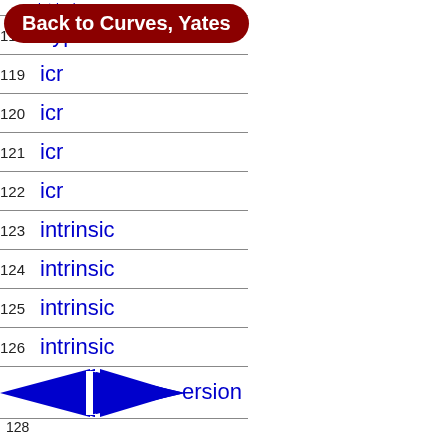[Figure (other): Navigation button overlay: 'Back to Curves, Yates' in white text on dark red rounded rectangle]
| 118 | hyperbolic |
| 119 | icr |
| 120 | icr |
| 121 | icr |
| 122 | icr |
| 123 | intrinsic |
| 124 | intrinsic |
| 125 | intrinsic |
| 126 | intrinsic |
| 127 | ersion |
[Figure (other): Blue diamond/arrow navigation icon pointing left with vertical bar, overlapping row 127]